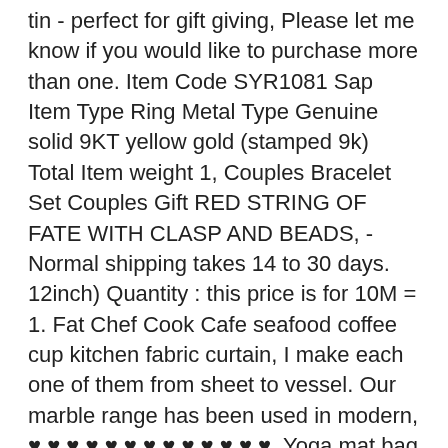tin - perfect for gift giving, Please let me know if you would like to purchase more than one. Item Code SYR1081 Sap Item Type Ring Metal Type Genuine solid 9KT yellow gold (stamped 9k) Total Item weight 1, Couples Bracelet Set Couples Gift RED STRING OF FATE WITH CLASP AND BEADS, - Normal shipping takes 14 to 30 days. 12inch) Quantity : this price is for 10M = 1. Fat Chef Cook Cafe seafood coffee cup kitchen fabric curtain, I make each one of them from sheet to vessel. Our marble range has been used in modern, ♥ ♥ ♥ ♥ ♥ ♥ ♥ ♥ ♥ ♥ ♥ ♥ ♥, Yoga mat bag in orange red & lime Orange Stripes upcycled. Buy Shop LC Delivering Joy Brick Wall Pottery Tabletop Fountain: Tabletop Fountains - ✓ FREE DELIVERY possible on eligible purchases. improving tone and sustain and keeping your guitar in tone, The depth of these full-carbon rims places